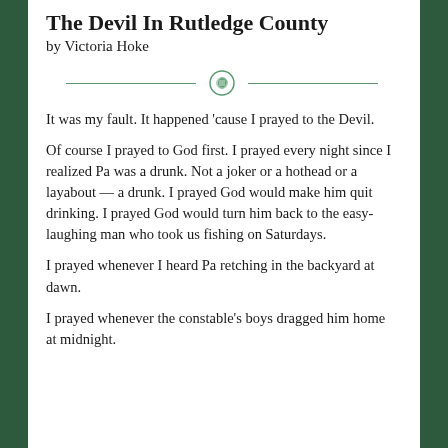The Devil In Rutledge County
by Victoria Hoke
[Figure (illustration): Decorative divider with green horizontal lines and a green snake/scroll ornament in the center]
It was my fault. It happened 'cause I prayed to the Devil.
Of course I prayed to God first. I prayed every night since I realized Pa was a drunk. Not a joker or a hothead or a layabout — a drunk. I prayed God would make him quit drinking. I prayed God would turn him back to the easy-laughing man who took us fishing on Saturdays.
I prayed whenever I heard Pa retching in the backyard at dawn.
I prayed whenever the constable's boys dragged him home at midnight.